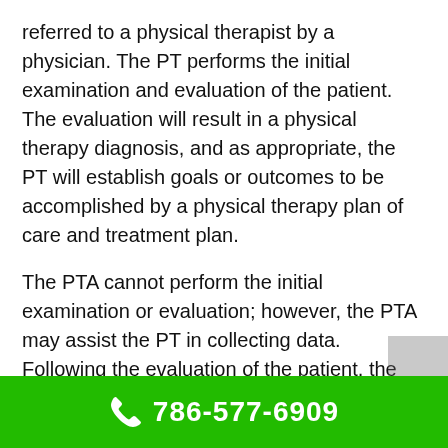referred to a physical therapist by a physician. The PT performs the initial examination and evaluation of the patient. The evaluation will result in a physical therapy diagnosis, and as appropriate, the PT will establish goals or outcomes to be accomplished by a physical therapy plan of care and treatment plan.
The PTA cannot perform the initial examination or evaluation; however, the PTA may assist the PT in collecting data. Following the evaluation of the patient, the PTA may perform selected interventions and data collection as directed by the supervising PT. The PTA must always work under the direction and supervision of a physical therapist. The collaborative relationship between the PT/PTA is highly effective and valued, and the team greatly contributes to the success of the
786-577-6909